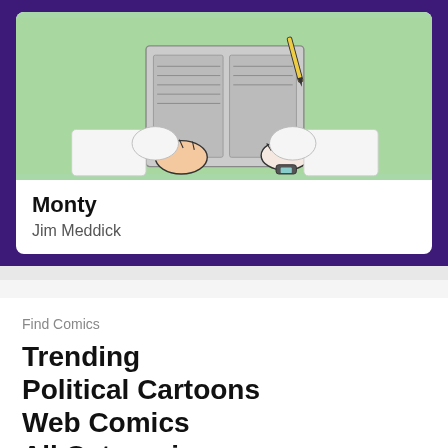[Figure (illustration): Cartoon illustration of a person (Monty character) reading a newspaper, shown from shoulders up against a light green background]
Monty
Jim Meddick
Find Comics
Trending
Political Cartoons
Web Comics
All Categories
Popular Comics
A-Z Comics by Title